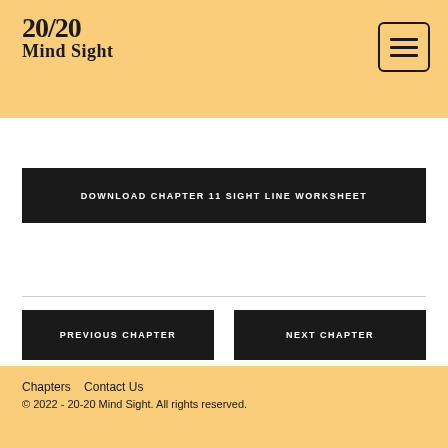20/20 Mind Sight
DOWNLOAD CHAPTER 11 SIGHT LINE WORKSHEET
PREVIOUS CHAPTER
NEXT CHAPTER
Chapters   Contact Us
© 2022 - 20-20 Mind Sight. All rights reserved.